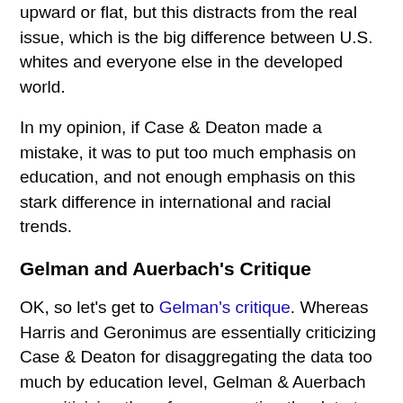upward or flat, but this distracts from the real issue, which is the big difference between U.S. whites and everyone else in the developed world.
In my opinion, if Case & Deaton made a mistake, it was to put too much emphasis on education, and not enough emphasis on this stark difference in international and racial trends.
Gelman and Auerbach's Critique
OK, so let's get to Gelman's critique. Whereas Harris and Geronimus are essentially criticizing Case & Deaton for disaggregating the data too much by education level, Gelman & Auerbach are criticizing them for aggregating the data too much by race. Gelman & Auerbach have created an enormous database of mortality graphs for Americans of every conceivable combination of race, age, gender and geographical location. They find that there's considerable heterogeneity within U.S. whites - for some subgroups, mortality has been falling.